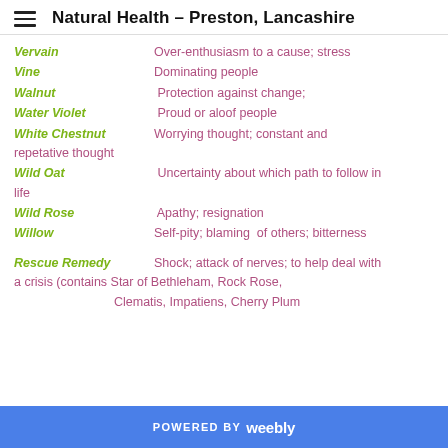Natural Health – Preston, Lancashire
Vervain — Over-enthusiasm to a cause; stress
Vine — Dominating people
Walnut — Protection against change;
Water Violet — Proud or aloof people
White Chestnut — Worrying thought; constant and repetative thought
Wild Oat — Uncertainty about which path to follow in life
Wild Rose — Apathy; resignation
Willow — Self-pity; blaming of others; bitterness
Rescue Remedy — Shock; attack of nerves; to help deal with a crisis (contains Star of Bethleham, Rock Rose, Clematis, Impatiens, Cherry Plum
POWERED BY weebly